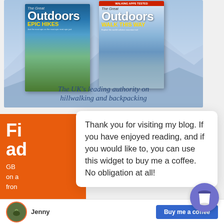[Figure (photo): The Great Outdoors magazine covers showing 'Epic Hikes' and 'Walk This Way' issues, displayed against a misty mountain background]
The UK's leading authority on hillwalking and backpacking
Thank you for visiting my blog. If you have enjoyed reading, and if you would like to, you can use this widget to buy me a coffee. No obligation at all!
Fi
ad
GB
on a
from
[Figure (illustration): Blue/purple circular coffee cup button icon in bottom right]